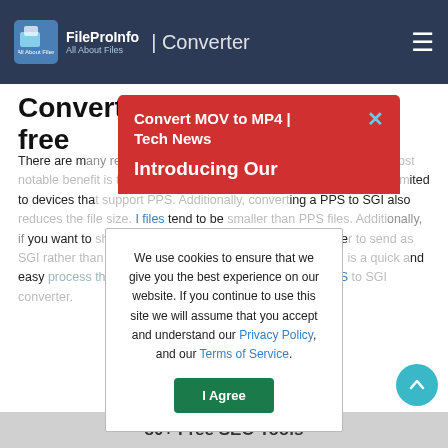FileProInfo – All About Files | PPS to SGI Converter
Convert pps to sgi online & free
There are many reasons to convert a PPS file to SGI. Perhaps the most notable benefit is that SGI can be read on any device, so you aren't limited to devices that support PPS. Additionally, converting a PPS to SGI also reduces the file size. SGI files tend to be smaller than PPS files. Additionally, if you want to share your presentation, it can be much easier to send as SGI rather than PPS format. Finally, converting PPT to SGI is a quick and easy process that anyone can do using this free online PPS to SGI converter.
[Figure (screenshot): Red notification popup: 'Convert MOV to MP4 | Tech News' with 'Introducing Our' text, and a close (X) button in teal]
[Figure (screenshot): Cookie consent modal: 'We use cookies to ensure that we give you the best experience on our website. If you continue to use this site we will assume that you accept and understand our Privacy Policy, and our Terms of Service.' with 'I Agree' green button]
80+ Free SEO Tools